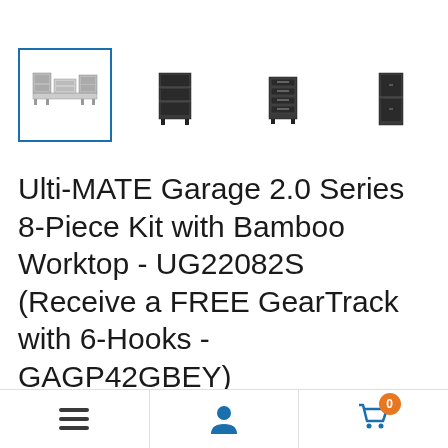[Figure (screenshot): Four product thumbnail images in a row. The first is selected (blue border) showing a full garage cabinet set overview in light grey. The second shows a tall dark cabinet unit. The third shows a dark drawer unit. The fourth shows a dark tall cabinet.]
Ulti-MATE Garage 2.0 Series 8-Piece Kit with Bamboo Worktop - UG22082S (Receive a FREE GearTrack with 6-Hooks - GAGP42GBEY)
[Figure (screenshot): Bottom navigation bar with three sections: hamburger menu icon on the left, user/person icon in the center, and shopping cart icon with orange badge showing '0' on the right.]